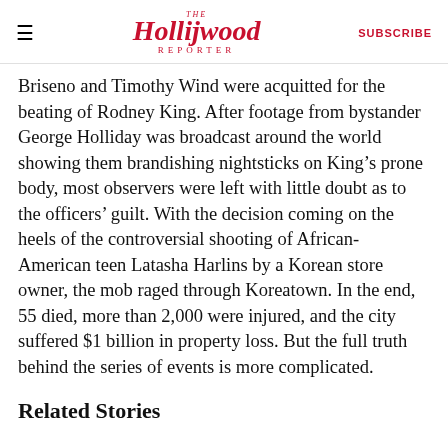The Hollywood Reporter | SUBSCRIBE
Briseno and Timothy Wind were acquitted for the beating of Rodney King. After footage from bystander George Holliday was broadcast around the world showing them brandishing nightsticks on King's prone body, most observers were left with little doubt as to the officers' guilt. With the decision coming on the heels of the controversial shooting of African-American teen Latasha Harlins by a Korean store owner, the mob raged through Koreatown. In the end, 55 died, more than 2,000 were injured, and the city suffered $1 billion in property loss. But the full truth behind the series of events is more complicated.
Related Stories